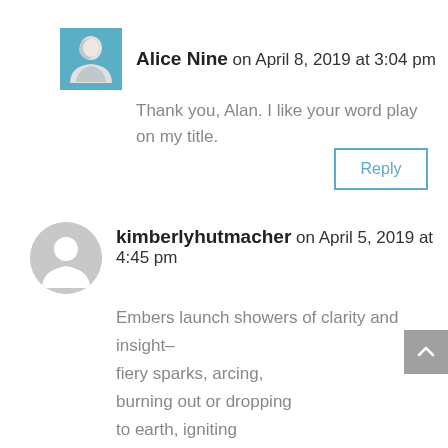Alice Nine on April 8, 2019 at 3:04 pm
Thank you, Alan. I like your word play on my title.
Reply
kimberlyhutmacher on April 5, 2019 at 4:45 pm
Embers launch showers of clarity and insight–
fiery sparks, arcing,
burning out or dropping
to earth, igniting
new fire.
LOVE!!
Reply